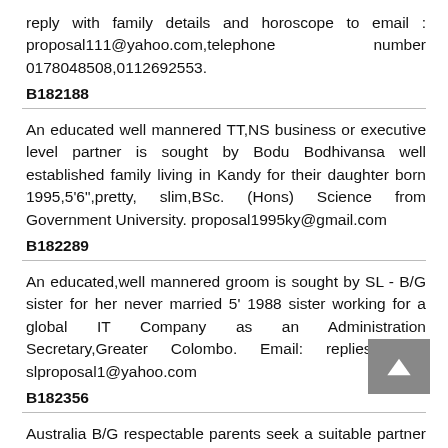reply with family details and horoscope to email : proposal111@yahoo.com,telephone number 0178048508,0112692553.
B182188
An educated well mannered TT,NS business or executive level partner is sought by Bodu Bodhivansa well established family living in Kandy for their daughter born 1995,5'6",pretty,slim,BSc. (Hons) Science from Government University. proposal1995ky@gmail.com
B182289
An educated,well mannered groom is sought by SL - B/G sister for her never married 5' 1988 sister working for a global IT Company as an Administration Secretary,Greater Colombo. Email: replies only. slproposal1@yahoo.com
B182356
Australia B/G respectable parents seek a suitable partner for daughter PR holder employed born in 1986 January,height